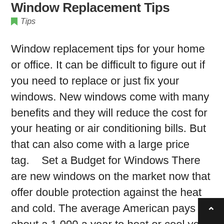Window Replacement Tips
Tips
Window replacement tips for your home or office. It can be difficult to figure out if you need to replace or just fix your windows. New windows come with many benefits and they will reduce the cost for your heating or air conditioning bills. But that can also come with a large price tag.    Set a Budget for Windows There are new windows on the market now that offer double protection against the heat and cold. The average American pays about a 1,000 a year to heat or cool your home, so investing in new and updated windows can actually save you money.   Call a Professional Instead of looking to replace an old window, maybe you need some maintenance work